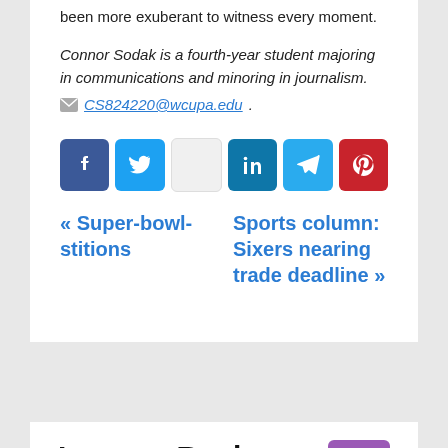been more exuberant to witness every moment.
Connor Sodak is a fourth-year student majoring in communications and minoring in journalism. ✉ CS824220@wcupa.edu.
« Super-bowl-stitions
Sports column: Sixers nearing trade deadline »
Leave a Reply